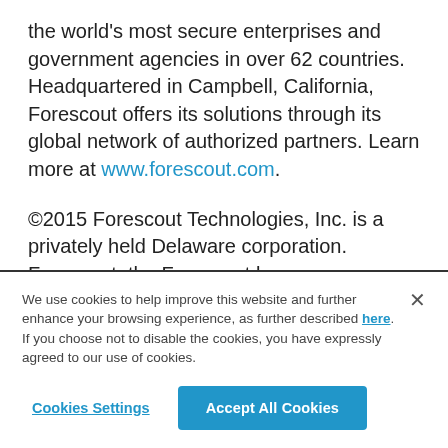the world's most secure enterprises and government agencies in over 62 countries. Headquartered in Campbell, California, Forescout offers its solutions through its global network of authorized partners. Learn more at www.forescout.com.
©2015 Forescout Technologies, Inc. is a privately held Delaware corporation. Forescout, the Forescout logo, ControlFabric, ActiveResponse and CounterACT are trademarks or registered trademarks of Forescout. Other names mentioned may be trademarks of their
We use cookies to help improve this website and further enhance your browsing experience, as further described here. If you choose not to disable the cookies, you have expressly agreed to our use of cookies.
Cookies Settings
Accept All Cookies